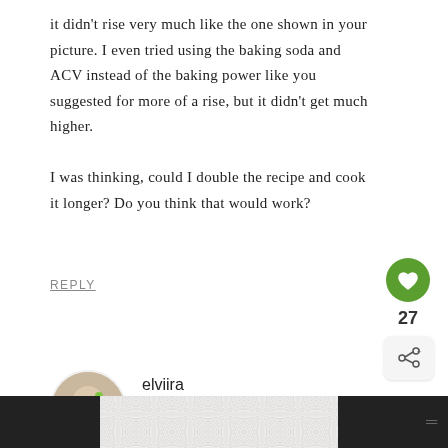it didn't rise very much like the one shown in your picture. I even tried using the baking soda and ACV instead of the baking power like you suggested for more of a rise, but it didn't get much higher.

I was thinking, could I double the recipe and cook it longer? Do you think that would work?
REPLY
[Figure (illustration): Green circle like button with heart icon, like count 27, and share button]
[Figure (photo): Circular avatar photo of a woman with short hair holding a green item]
elviira
May 28, 2017 at 08:16
Hi Sandy, sorry to hear it didn't rise that much.
[Figure (illustration): Bottom bar with dark sides and patterned center with decorative circles pattern, and small icon on lower right]